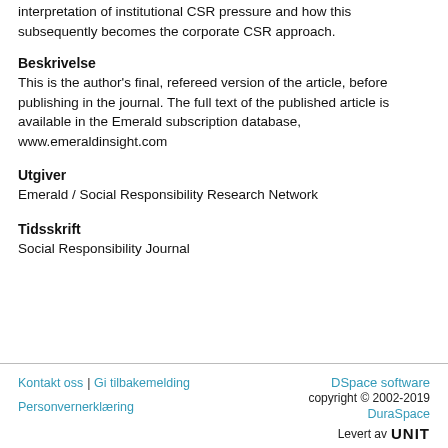interpretation of institutional CSR pressure and how this subsequently becomes the corporate CSR approach.
Beskrivelse
This is the author's final, refereed version of the article, before publishing in the journal. The full text of the published article is available in the Emerald subscription database, www.emeraldinsight.com
Utgiver
Emerald / Social Responsibility Research Network
Tidsskrift
Social Responsibility Journal
Kontakt oss | Gi tilbakemelding | DSpace software | copyright © 2002-2019 | Personvernerklæring | DuraSpace | Levert av UNIT